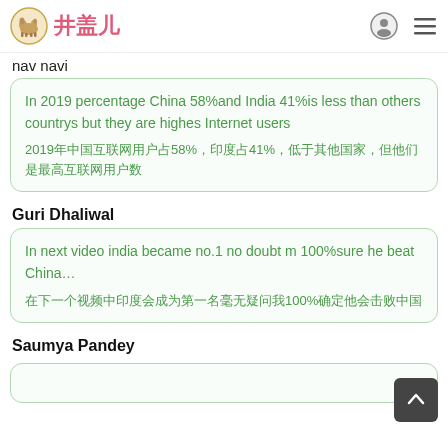井盖儿
nav navi
In 2019 percentage China 58%and India 41%is less than others countrys but they are highes Internet users 2019年中国互联网用户占58%，印度占41%，低于其他国家，但他们是最高的互联网用户
Guri Dhaliwal
In next video india became no.1 no doubt m 100%sure he beat China… 在下一个视频中，印度毫无疑问将成为第一名，我100%确定他会击败中国…
Saumya Pandey